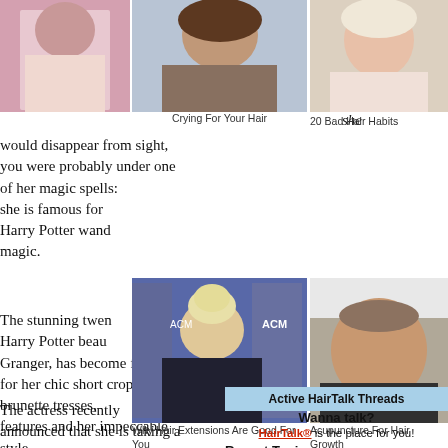[Figure (photo): Photo of woman in pink/beige dress top left]
[Figure (photo): Photo of woman with brown hair center top]
she
Crying For Your Hair
[Figure (photo): Photo of woman smiling top right sidebar]
20 Bad Hair Habits
would disappear from sight, you were probably under one of her magic spells: she is famous for Harry Potter wand magic.
The stunning twen Harry Potter beau Granger, has become famous for her chic short cropped brunette tresses, features and her impeccable style.
[Figure (photo): Photo of blonde woman with updo at ACM Awards]
Why Hair Extensions Are Good For You
[Figure (photo): Photo of middle-aged man smiling]
Acupuncture For Hair Growth
Active HairTalk Threads
Wanna talk?
HairTalk® is the place for you!
Recent Topics:
The actress recently announced that she is taking a